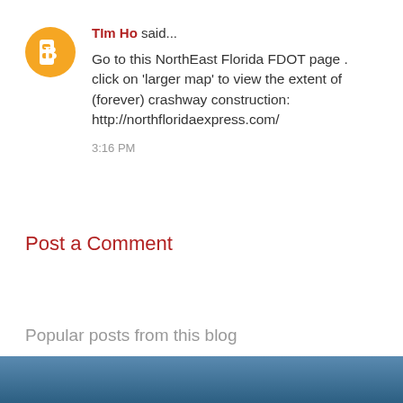TIm Ho said... Go to this NorthEast Florida FDOT page . click on 'larger map' to view the extent of (forever) crashway construction: http://northfloridaexpress.com/ 3:16 PM
Post a Comment
Popular posts from this blog
[Figure (photo): Blue sky/cloud image strip at bottom of page]